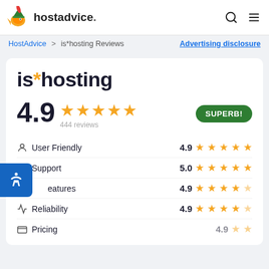hostadvice.
HostAdvice > is*hosting Reviews    Advertising disclosure
is*hosting
4.9  444 reviews  SUPERB!
| Category | Score | Stars |
| --- | --- | --- |
| User Friendly | 4.9 | ★★★★★ |
| Support | 5.0 | ★★★★★ |
| Features | 4.9 | ★★★★☆ |
| Reliability | 4.9 | ★★★★☆ |
| Pricing | 4.9 | ★★★★☆ |